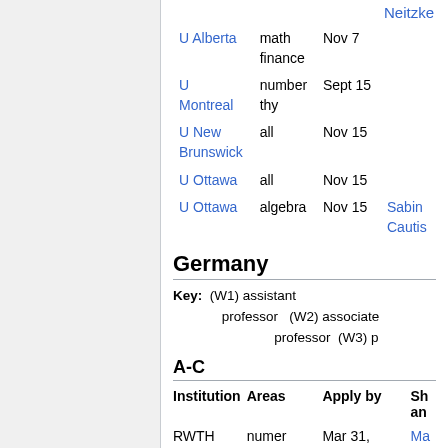Neitzke
| Institution | Areas | Apply by | Short info |
| --- | --- | --- | --- |
| U Alberta | math finance | Nov 7 |  |
| U Montreal | number thy | Sept 15 |  |
| U New Brunswick | all | Nov 15 |  |
| U Ottawa | all | Nov 15 |  |
| U Ottawa | algebra | Nov 15 | Sabin Cautis |
Germany
Key: (W1) assistant professor (W2) associate professor (W3) p
A-C
| Institution | Areas | Apply by | Short info and... |
| --- | --- | --- | --- |
| RWTH Aachen | numer anal (W2) | Mar 31, 2009 | Ma... Fo... [1] |
| RWTH | discr opt | expired | Ari... |